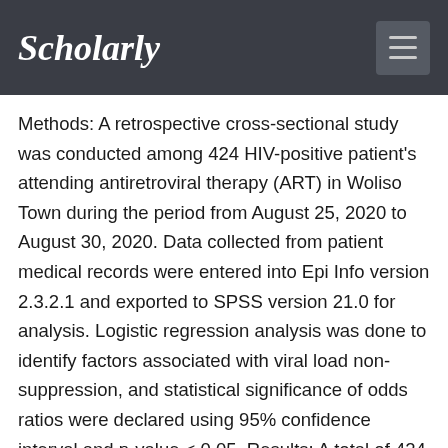Scholarly
Methods: A retrospective cross-sectional study was conducted among 424 HIV-positive patient's attending antiretroviral therapy (ART) in Woliso Town during the period from August 25, 2020 to August 30, 2020. Data collected from patient medical records were entered into Epi Info version 2.3.2.1 and exported to SPSS version 21.0 for analysis. Logistic regression analysis was done to identify factors associated with viral load non-suppression, and statistical significance of odds ratios were declared using 95% confidence interval and p-value < 0.05. Results: A total of 424 patients were included in this study. The mean age (± SD) of the study participants was 39.88 (± 9.995) years. The prevalence of HIV viral load non-suppression was 55 (13.0%) with 95% CI (9.9-16.5). Second-line ART treatment regimen (Adjusted Odds Ratio (AOR) = 8.98, 95% Confidence Interval (CI): 2.64, 30.58) and routine viral load testing (AOR = 0.01, 95% CI: 0.001, 0.02) were significantly associated with virological non-suppression